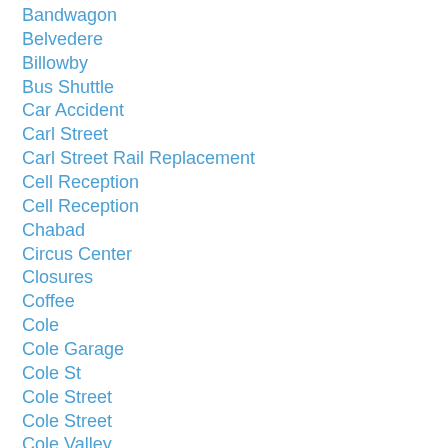Bandwagon
Belvedere
Billowby
Bus Shuttle
Car Accident
Carl Street
Carl Street Rail Replacement
Cell Reception
Cell Reception
Chabad
Circus Center
Closures
Coffee
Cole
Cole Garage
Cole St
Cole Street
Cole Street
Cole Valley
Cole Valley
Cole Valley Cardio